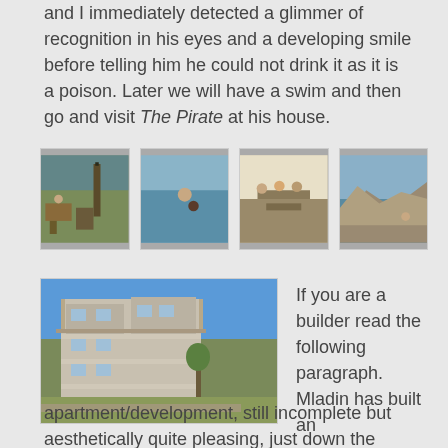and I immediately detected a glimmer of recognition in his eyes and a developing smile before telling him he could not drink it as it is a poison. Later we will have a swim and then go and visit The Pirate at his house.
[Figure (photo): Four small thumbnail photos in a row: outdoor scene with people and equipment, person swimming in water, group dining outdoors, rocky coastal scene]
[Figure (photo): Large photo of a multi-storey apartment/development building with balconies and pergola structure, blue sky background]
If you are a builder read the following paragraph. Mladin has built an
apartment/development, still incomplete but aesthetically quite pleasing, just down the road. The entire building is